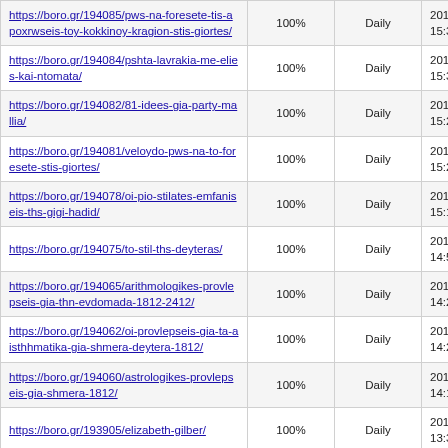| https://boro.gr/194085/pws-na-foresete-tis-apoxrwseis-toy-kokkinoy-kragion-stis-giortes/ | 100% | Daily | 2017-12-18 15:31 |
| https://boro.gr/194084/pshta-lavrakia-me-elies-kai-ntomata/ | 100% | Daily | 2017-12-18 15:30 |
| https://boro.gr/194082/81-idees-gia-party-mallia/ | 100% | Daily | 2017-12-18 15:25 |
| https://boro.gr/194081/veloydo-pws-na-to-foresete-stis-giortes/ | 100% | Daily | 2017-12-18 15:20 |
| https://boro.gr/194078/oi-pio-stilates-emfaniseis-ths-gigi-hadid/ | 100% | Daily | 2017-12-18 15:12 |
| https://boro.gr/194075/to-stil-ths-deyteras/ | 100% | Daily | 2017-12-18 14:59 |
| https://boro.gr/194065/arithmologikes-provlepseis-gia-thn-evdomada-1812-2412/ | 100% | Daily | 2017-12-18 14:28 |
| https://boro.gr/194062/oi-provlepseis-gia-ta-aisthhmatika-gia-shmera-deytera-1812/ | 100% | Daily | 2017-12-18 14:22 |
| https://boro.gr/194060/astrologikes-provlepseis-gia-shmera-1812/ | 100% | Daily | 2017-12-18 14:17 |
| https://boro.gr/193905/elizabeth-gilber/ | 100% | Daily | 2017-12-18 13:30 |
| https://boro.gr/194004/keik-zevra-me-elaiolado/ | 100% | Daily | 2017-12-17 13:30 |
| https://boro.gr/193903/ferdinand-foch/ | 100% | Daily | 2017-12-17 12:30 |